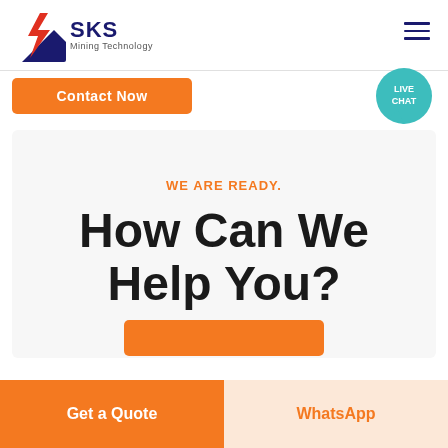[Figure (logo): SKS Mining Technology logo with diagonal lightning bolt symbol in red/blue/white and the text 'SKS Mining Technology']
[Figure (other): Hamburger menu icon (three horizontal lines) in dark navy blue]
Contact Now
[Figure (other): Teal speech bubble icon with 'LIVE CHAT' text inside]
WE ARE READY.
How Can We Help You?
Get a Quote
WhatsApp